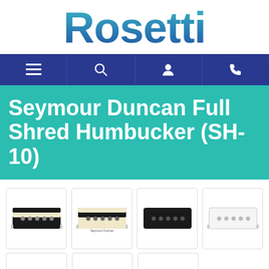[Figure (logo): Rosetti logo in teal-to-blue gradient, large bold text]
[Figure (screenshot): Navigation bar with hamburger menu, search, user, and phone icons on dark blue background]
Seymour Duncan Full Shred Humbucker (SH-10)
[Figure (photo): Four product images of Seymour Duncan Full Shred Humbucker pickups in different color variants (zebra, reverse zebra, black, white) displayed in a grid]
[Figure (photo): Partial row of more product variant images at the bottom]